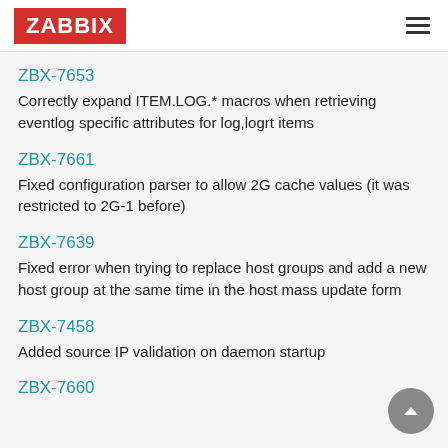ZABBIX
ZBX-7653
Correctly expand ITEM.LOG.* macros when retrieving eventlog specific attributes for log,logrt items
ZBX-7661
Fixed configuration parser to allow 2G cache values (it was restricted to 2G-1 before)
ZBX-7639
Fixed error when trying to replace host groups and add a new host group at the same time in the host mass update form
ZBX-7458
Added source IP validation on daemon startup
ZBX-7660